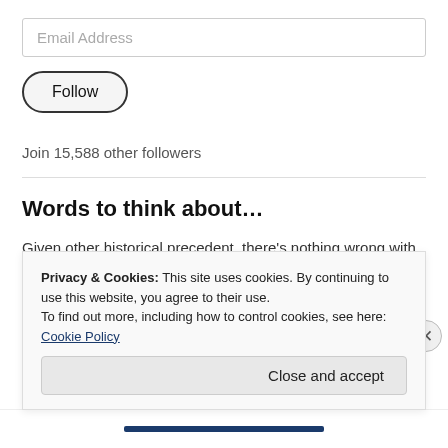Email Address
Follow
Join 15,588 other followers
Words to think about...
Given other historical precedent, there’s nothing wrong with our current government leaders that wouldn’t be solved far more rapidly, by simply chopping 342 of them open with tomahawks and hurling them into the Potomac river-since Boston Harbor is kinda far to toss the bodies
Privacy & Cookies: This site uses cookies. By continuing to use this website, you agree to their use.
To find out more, including how to control cookies, see here: Cookie Policy
Close and accept